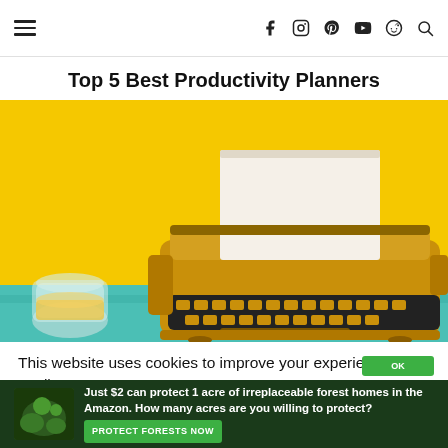≡  f  Instagram  Pinterest  YouTube  Reddit  Search
Top 5 Best Productivity Planners
[Figure (photo): A yellow vintage typewriter on a yellow background with a glass of orange juice on the left, sitting on a teal surface.]
This website uses cookies to improve your experience. We'll
[Figure (other): Advertisement banner: 'Just $2 can protect 1 acre of irreplaceable forest homes in the Amazon. How many acres are you willing to protect?' with a PROTECT FORESTS NOW button on a dark forest background.]